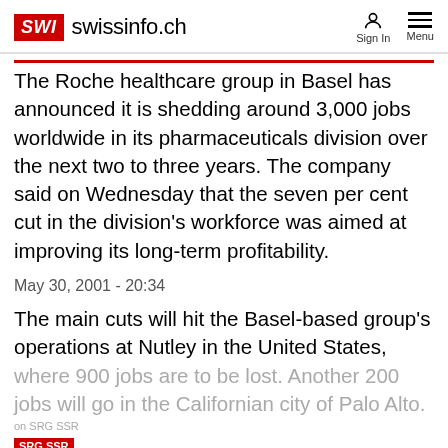SWI swissinfo.ch | Sign In | Menu
The Roche healthcare group in Basel has announced it is shedding around 3,000 jobs worldwide in its pharmaceuticals division over the next two to three years. The company said on Wednesday that the seven per cent cut in the division's workforce was aimed at improving its long-term profitability.
May 30, 2001 - 20:34
The main cuts will hit the Basel-based group's operations at Nutley in the United States, where 900 jobs are to be lost. Another 200 jobs will go in the Californian city of Palo Alto.
SRG SSR
In Britain, some 700 jobs are to be cut at